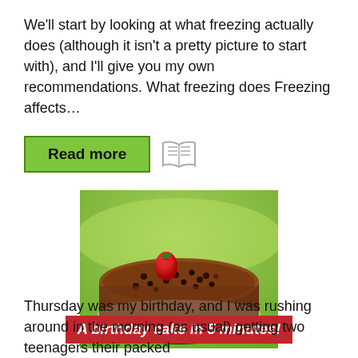We'll start by looking at what freezing actually does (although it isn't a pretty picture to start with), and I'll give you my own recommendations. What freezing does Freezing affects…
Read more
[Figure (photo): A chocolate cake topped with chocolate chips and a single red raspberry, photographed outdoors with green grass in the background. A red banner overlay reads: A birthday cake in 5 minutes!]
A birthday cake in 5 minutes!
Thursday was my birthday, and I was rushing around in the morning (as usual) getting two teenagers their packed